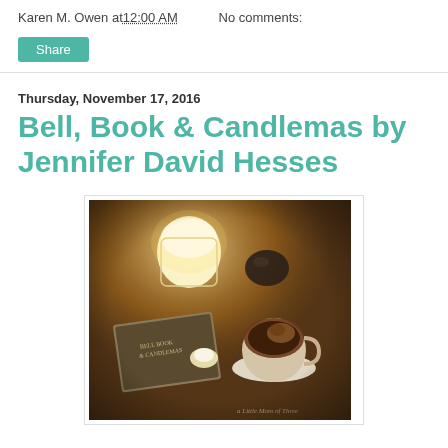Karen M. Owen at 12:00 AM   No comments:
Share
Thursday, November 17, 2016
Bell, Book & Candlemas by Jennifer David Hesses
[Figure (photo): A cozy flat-lay photograph showing the book 'Bell Book & Candlemas' on a wooden table alongside a lit candle in a glass jar, a dark crystal or stone, a small tea light, and a cup of coffee or hot chocolate on a white saucer, all bathed in warm candlelight with a watermark reading 'a little Mom of Three' in the corner.]